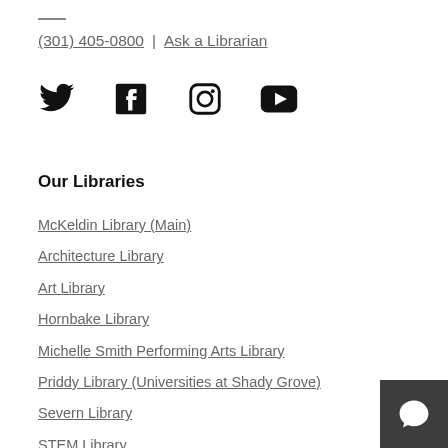(301) 405-0800 | Ask a Librarian
[Figure (illustration): Social media icons for Twitter, Facebook, Instagram, and YouTube]
Our Libraries
McKeldin Library (Main)
Architecture Library
Art Library
Hornbake Library
Michelle Smith Performing Arts Library
Priddy Library (Universities at Shady Grove)
Severn Library
STEM Library
[Figure (illustration): Dark grey chat/speech bubble button in bottom right corner]